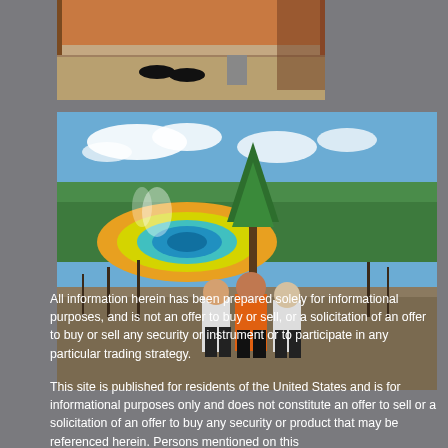[Figure (photo): Partial photo showing feet/lower bodies of people standing indoors on carpet near a doorway]
[Figure (photo): Three men standing on a rocky overlook at Yellowstone National Park with Grand Prismatic Spring and forest landscape visible in the background]
All information herein has been prepared solely for informational purposes, and is not an offer to buy or sell, or a solicitation of an offer to buy or sell any security or instrument or to participate in any particular trading strategy.
This site is published for residents of the United States and is for informational purposes only and does not constitute an offer to sell or a solicitation of an offer to buy any security or product that may be referenced herein. Persons mentioned on this